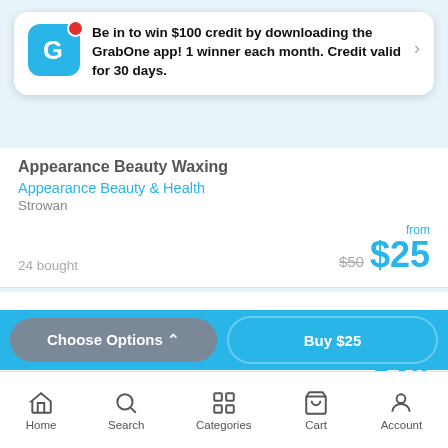Be in to win $100 credit by downloading the GrabOne app! 1 winner each month. Credit valid for 30 days.
Appearance Beauty Waxing
Appearance Beauty & Health
Strowan
24 bought
from $50 $25
Two-Pack Exfoliating Crystal Hair Remover
from $24
Choose Options ^
Buy $25
Home
Search
Categories
Cart
Account